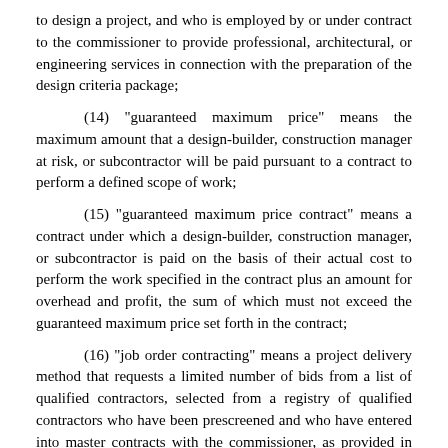to design a project, and who is employed by or under contract to the commissioner to provide professional, architectural, or engineering services in connection with the preparation of the design criteria package;
(14) "guaranteed maximum price" means the maximum amount that a design-builder, construction manager at risk, or subcontractor will be paid pursuant to a contract to perform a defined scope of work;
(15) "guaranteed maximum price contract" means a contract under which a design-builder, construction manager, or subcontractor is paid on the basis of their actual cost to perform the work specified in the contract plus an amount for overhead and profit, the sum of which must not exceed the guaranteed maximum price set forth in the contract;
(16) "job order contracting" means a project delivery method that requests a limited number of bids from a list of qualified contractors, selected from a registry of qualified contractors who have been prescreened and who have entered into master contracts with the commissioner, as provided in section 16C.35;
(17) "past performance" or "experience" does not